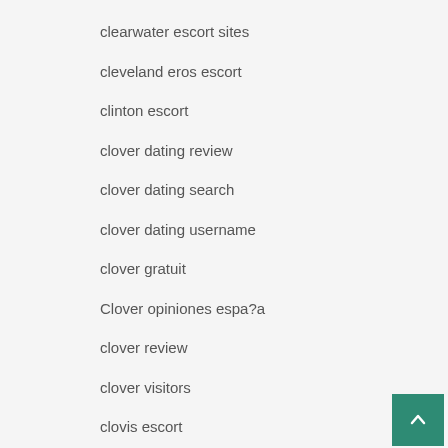clearwater escort sites
cleveland eros escort
clinton escort
clover dating review
clover dating search
clover dating username
clover gratuit
Clover opiniones espa?a
clover review
clover visitors
clovis escort
clovis escort directory
clovis escort radar detector